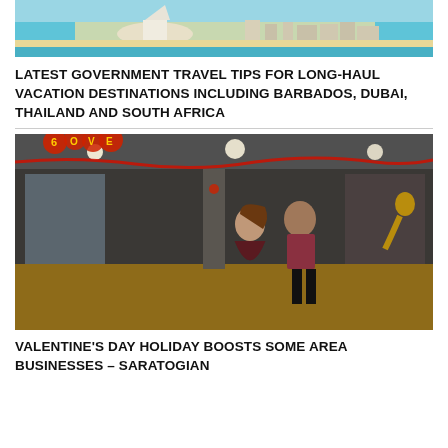[Figure (photo): Aerial view of a coastal city with turquoise water, a hotel on a peninsula, and buildings along the shore]
LATEST GOVERNMENT TRAVEL TIPS FOR LONG-HAUL VACATION DESTINATIONS INCLUDING BARBADOS, DUBAI, THAILAND AND SOUTH AFRICA
[Figure (photo): Two people dancing in a studio decorated with Valentine's Day decorations including red heart balloons spelling LOVE and red garland]
VALENTINE'S DAY HOLIDAY BOOSTS SOME AREA BUSINESSES – SARATOGIAN